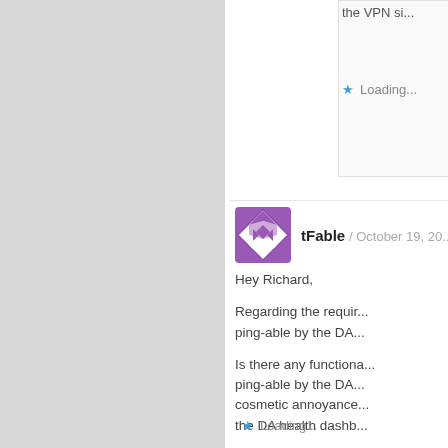the VPN si...
Loading...
tFable / October 19, 20...
Hey Richard,

Regarding the requir... ping-able by the DA...

Is there any functiona... ping-able by the DA... cosmetic annoyance... the DA health dashb...

Thanks!
tFable
Loading...